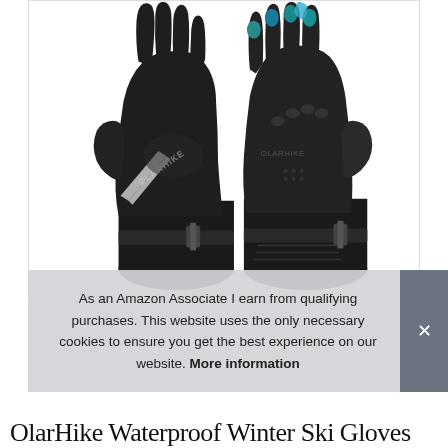[Figure (photo): Two black OlarHike ski gloves shown front and back. The left glove shows the palm side with the OLARHIKE logo and a white diagonal stripe accent. The right glove shows the back with touchscreen-compatible fingertips (teal/blue tips visible) and textured grip panels. Both gloves have adjustable wrist straps with buckles.]
As an Amazon Associate I earn from qualifying purchases. This website uses the only necessary cookies to ensure you get the best experience on our website. More information
OlarHike Waterproof Winter Ski Gloves